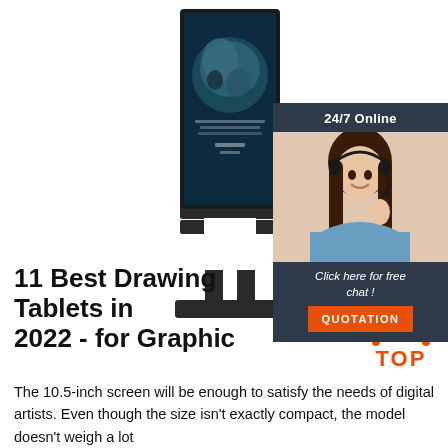[Figure (photo): A large digital display kiosk/tablet stand with dark frame showing a globe image on screen, on a white background]
[Figure (photo): Advertisement sidebar: '24/7 Online' header with photo of smiling woman with headset, 'Click here for free chat!' and orange QUOTATION button]
11 Best Drawing Tablets in 2022 - for Graphic
The 10.5-inch screen will be enough to satisfy the needs of digital artists. Even though the size isn't exactly compact, the model doesn't weigh a lot
[Figure (logo): TOP logo with orange dots forming an arc above the word TOP]